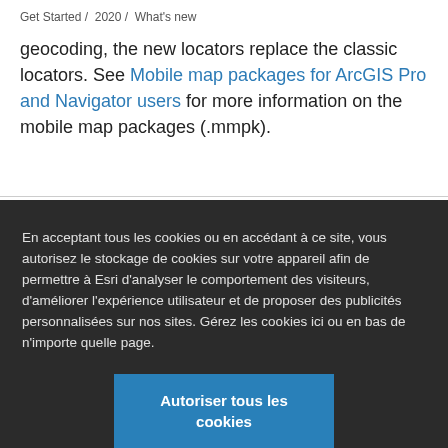Get Started / 2020 / What's new
geocoding, the new locators replace the classic locators. See Mobile map packages for ArcGIS Pro and Navigator users for more information on the mobile map packages (.mmpk).
En acceptant tous les cookies ou en accédant à ce site, vous autorisez le stockage de cookies sur votre appareil afin de permettre à Esri d'analyser le comportement des visiteurs, d'améliorer l'expérience utilisateur et de proposer des publicités personnalisées sur nos sites. Gérez les cookies ici ou en bas de n'importe quelle page.
Autoriser tous les cookies